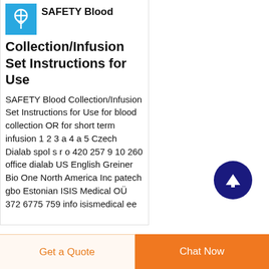[Figure (logo): Blue square logo with a medical/infusion set icon in white]
SAFETY Blood Collection/Infusion Set Instructions for Use
SAFETY Blood Collection/Infusion Set Instructions for Use for blood collection OR for short term infusion 1 2 3 a 4 a 5 Czech Dialab spol s r o 420 257 9 10 260 office dialab US English Greiner Bio One North America Inc patech gbo Estonian ISIS Medical OÜ 372 6775 759 info isismedical ee
Get a Quote   Chat Now